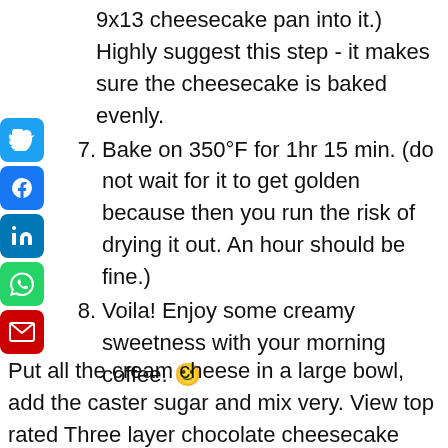9x13 cheesecake pan into it.) Highly suggest this step - it makes sure the cheesecake is baked evenly.
7. Bake on 350°F for 1hr 15 min. (do not wait for it to get golden because then you run the risk of drying it out. An hour should be fine.)
8. Voila! Enjoy some creamy sweetness with your morning coffee. 🙂
Put all the cream cheese in a large bowl, add the caster sugar and mix very. View top rated Three layer chocolate cheesecake recipes with ratings and